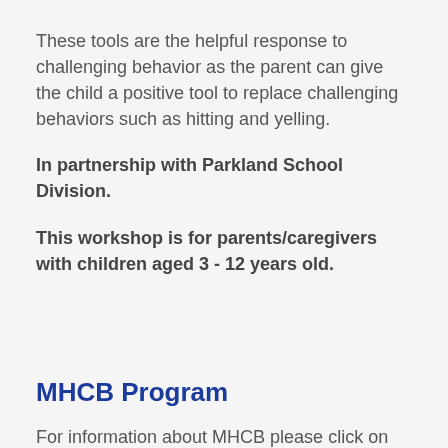These tools are the helpful response to challenging behavior as the parent can give the child a positive tool to replace challenging behaviors such as hitting and yelling.
In partnership with Parkland School Division.
This workshop is for parents/caregivers with children aged 3 - 12 years old.
MHCB Program
For information about MHCB please click on